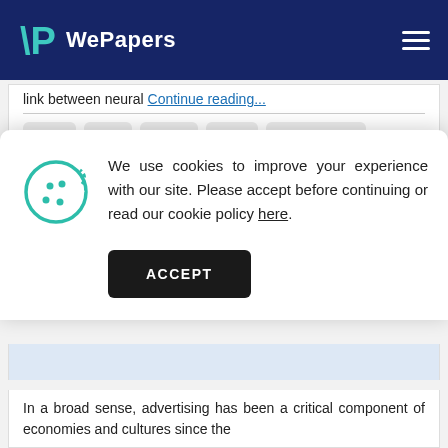WePapers
link between neural Continue reading...
brain
limb
wiring
body
phenomenon
We use cookies to improve your experience with our site. Please accept before continuing or read our cookie policy here.
ACCEPT
In a broad sense, advertising has been a critical component of economies and cultures since the